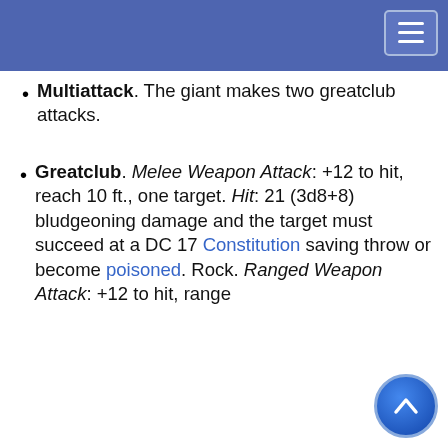Multiattack. The giant makes two greatclub attacks.
Greatclub. Melee Weapon Attack: +12 to hit, reach 10 ft., one target. Hit: 21 (3d8+8) bludgeoning damage and the target must succeed at a DC 17 Constitution saving throw or become poisoned. Rock. Ranged Weapon Attack: +12 to hit, range …+8) bludgeoning …ed at a DC 17 …e poisoned. If …ceed on a DC 20 …prone.
This website uses cookies to provide functionality, but which are not used to track your activity. By continuing to use this site, you agree to the use of these cookies.

However, in addition to this, you may opt into your activity being tracked in order to help us improve our service.

For more information, please click here
object is hur… uccessful DC 10 …issile and take
Dexterity saving throw, catch the missile and take